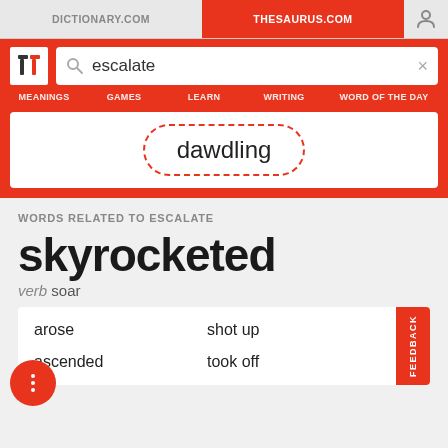DICTIONARY.COM | THESAURUS.COM
[Figure (screenshot): Thesaurus.com website screenshot showing search for 'escalate' with word card showing 'dawdling' and related words section for 'skyrocketed']
escalate
MEANINGS   GAMES   LEARN   WRITING   WORD OF THE DAY
dawdling
WORDS RELATED TO ESCALATE
skyrocketed
verb soar
arose
shot up
ascended
took off